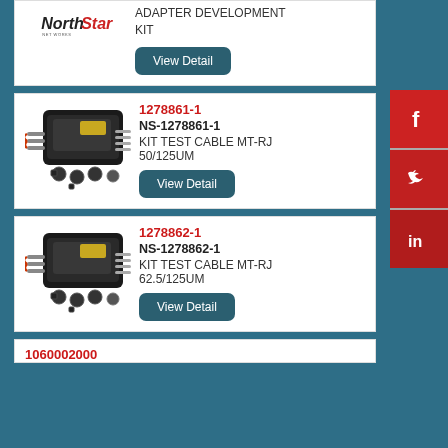[Figure (screenshot): Top partial product card showing NorthStar logo and ADAPTER DEVELOPMENT KIT with View Detail button]
[Figure (photo): Product image for NS-1278861-1 MT-RJ fiber optic test cable kit in black case with connectors]
1278861-1
NS-1278861-1
KIT TEST CABLE MT-RJ 50/125UM
[Figure (photo): Product image for NS-1278862-1 MT-RJ fiber optic test cable kit in black case with connectors]
1278862-1
NS-1278862-1
KIT TEST CABLE MT-RJ 62.5/125UM
1060002000